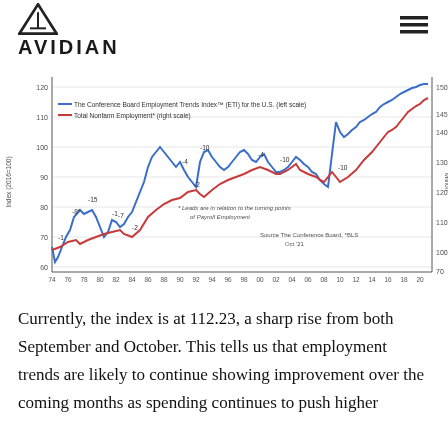AVIDIAN
[Figure (line-chart): Dual-axis line chart showing the Conference Board Employment Trends Index (ETI) for the U.S. (left scale, blue line) and Total Nonfarm Employment (right scale, red line) from 1974 to 2021. Index ranges from about 40 to 110+ on left, employment from 70M to 150M on right. Key turning points labeled: -1, -8*, -15, -1, -7, -2, -2, -4, -10, -4, -10, -10. Note: Leads are in relation to the turning points of Payroll Employment. Source: The Conference Board, *BLS, Oct '21.]
Currently, the index is at 112.23, a sharp rise from both September and October. This tells us that employment trends are likely to continue showing improvement over the coming months as spending continues to push higher